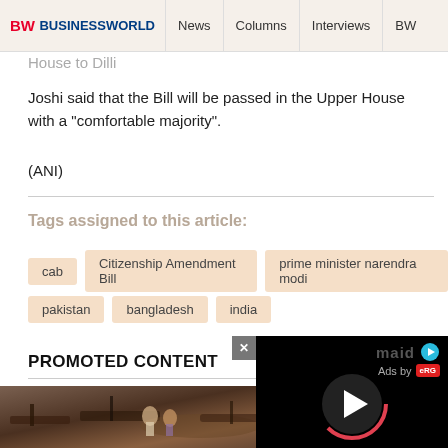BW BUSINESSWORLD | News | Columns | Interviews | BW
House to Dilli
Joshi said that the Bill will be passed in the Upper House with a "comfortable majority".
(ANI)
Tags assigned to this article:
cab
Citizenship Amendment Bill
prime minister narendra modi
pakistan
bangladesh
india
PROMOTED CONTENT
[Figure (photo): Photo of people near boats/fishing vessels]
[Figure (screenshot): Ad overlay with maid logo, Ads by eRG label, and video play button on black background]